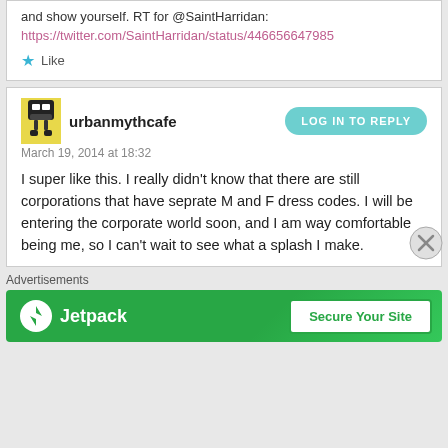and show yourself. RT for @SaintHarridan:
https://twitter.com/SaintHarridan/status/446656647985
Like
urbanmythcafe
March 19, 2014 at 18:32
LOG IN TO REPLY
I super like this. I really didn't know that there are still corporations that have seprate M and F dress codes. I will be entering the corporate world soon, and I am way comfortable being me, so I can't wait to see what a splash I make.
Advertisements
[Figure (other): Jetpack advertisement banner with green background, Jetpack logo and 'Secure Your Site' button]